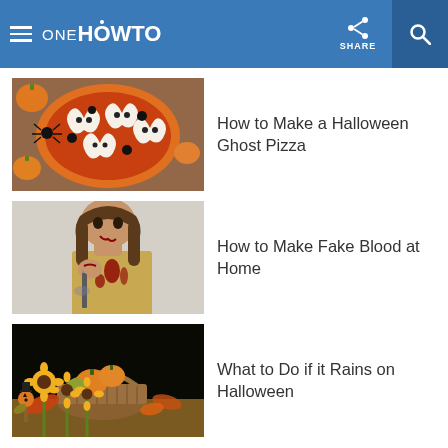ONE HOWTO — SHARE
[Figure (photo): Halloween ghost pizza with mozzarella ghost shapes on tomato sauce, surrounded by small orange pumpkins and a plastic spider on a wooden board]
How to Make a Halloween Ghost Pizza
[Figure (photo): Young woman dressed as zombie with fake blood on her hands and a knife, wearing a tan shirt with blood splatters, against a light gray background]
How to Make Fake Blood at Home
[Figure (photo): Halloween decoration with a wicker basket containing pumpkins and autumn gourds, surrounded by sunflowers and autumn leaves, with a small jack-o-lantern scarecrow figure, against a dark background]
What to Do if it Rains on Halloween